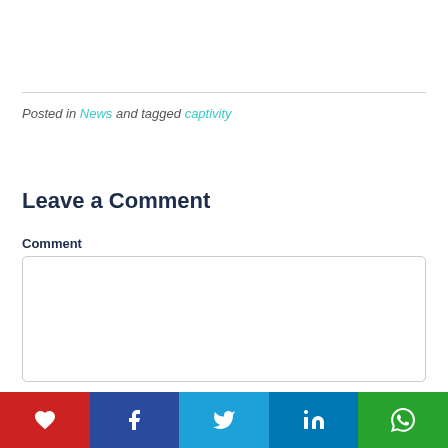Posted in News and tagged captivity
Leave a Comment
Comment
[Figure (other): Empty comment text area input box with rounded border]
Social share bar: heart, Facebook, Twitter, LinkedIn, WhatsApp